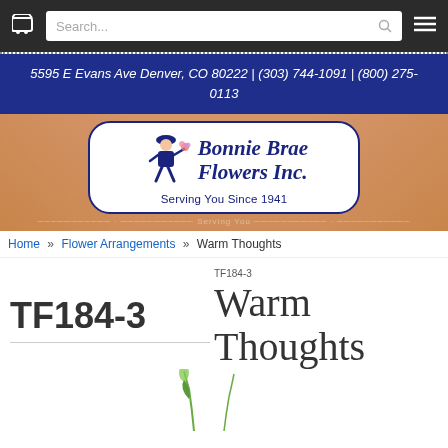Cart | Search... | Menu
5595 E Evans Ave Denver, CO 80222 | (303) 744-1091 | (800) 275-0113
[Figure (logo): Bonnie Brae Flowers Inc. logo with running delivery boy figure and text 'Serving You Since 1941']
Home » Flower Arrangements » Warm Thoughts
TF184-3
Warm Thoughts
TF184-3
[Figure (photo): Flower arrangement photo, partially visible at bottom of page]